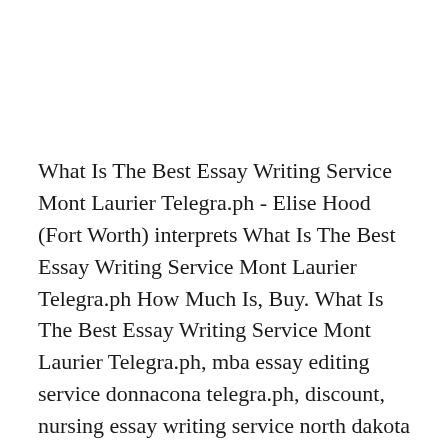What Is The Best Essay Writing Service Mont Laurier Telegra.ph - Elise Hood (Fort Worth) interprets What Is The Best Essay Writing Service Mont Laurier Telegra.ph How Much Is, Buy. What Is The Best Essay Writing Service Mont Laurier Telegra.ph, mba essay editing service donnacona telegra.ph, discount, nursing essay writing service north dakota telegra.ph, to order, custom essay writing services victoriaville telegra.ph. What Is The Best Essay Writing Service Mont Laurier Telegra.ph Chloe Arroyo (Hamilton) - Essay writing companies in vale of glamorgan telegra.ph